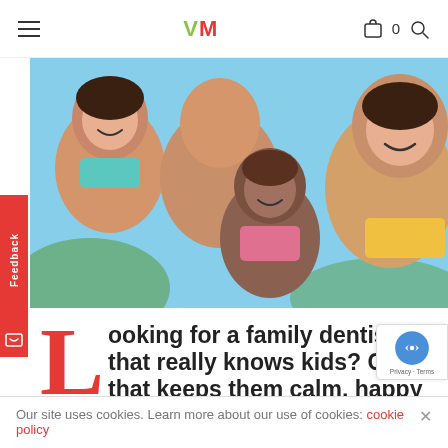VM — navigation header with hamburger menu, VM logo, cart icon (0), search icon
[Figure (photo): Group of smiling children looking down at camera, outdoors with blue sky background]
Feedback
Looking for a family dentist that really knows kids? One that keeps them calm, happy and looking
Our V
ists list
Our site uses cookies. Learn more about our use of cookies: cookie policy
Privacy · Terms